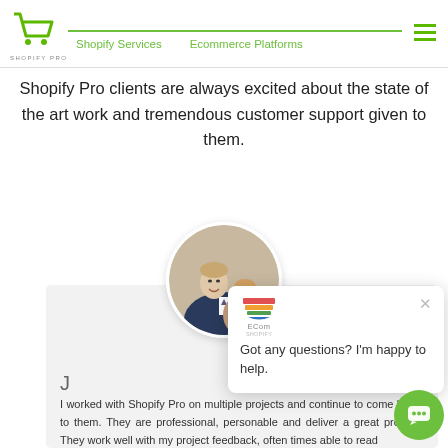Shopify Pro | Shopify Services | Ecommerce Platforms
Shopify Pro clients are always excited about the state of the art work and tremendous customer support given to them.
[Figure (photo): Circular profile photo of a young couple, man in suit and woman smiling]
J
[Figure (screenshot): Chat popup with ECom logo, close button, and message: Got any questions? I'm happy to help.]
I worked with Shopify Pro on multiple projects and continue to come back to them. They are professional, personable and deliver a great project. They work well with my project feedback, often times able to read